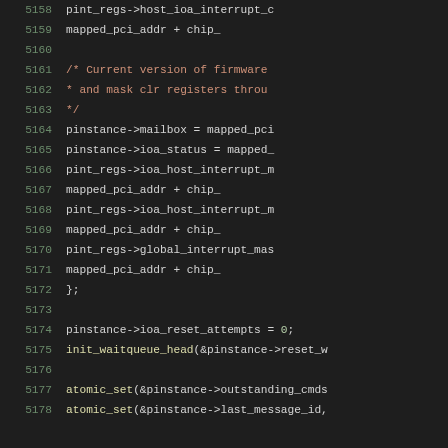[Figure (screenshot): Source code listing showing C code lines 5158-5178 with syntax highlighting on a dark background. Line numbers shown in green on left, code in various colors.]